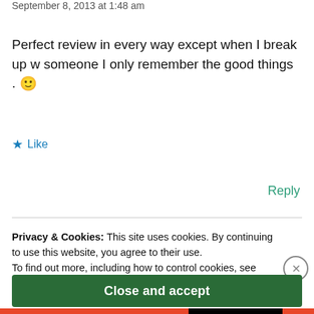September 8, 2013 at 1:48 am
Perfect review in every way except when I break up w someone I only remember the good things . 🙂
★ Like
Reply
Privacy & Cookies: This site uses cookies. By continuing to use this website, you agree to their use.
To find out more, including how to control cookies, see here:
Cookie Policy
Close and accept